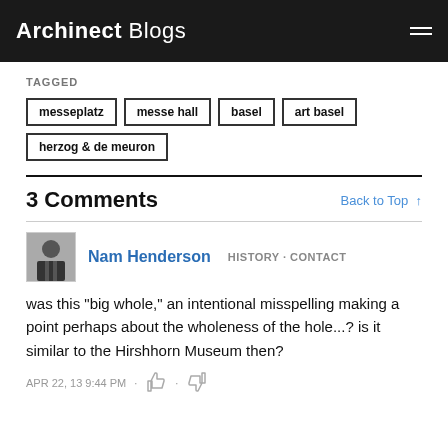Archinect Blogs
TAGGED
messeplatz
messe hall
basel
art basel
herzog & de meuron
3 Comments
Back to Top ↑
Nam Henderson  HISTORY · CONTACT
was this "big whole," an intentional misspelling making a point perhaps about the wholeness of the hole...? is it similar to the Hirshhorn Museum then?
APR 22, 13 9:44 PM  ·  👍  ·  👎